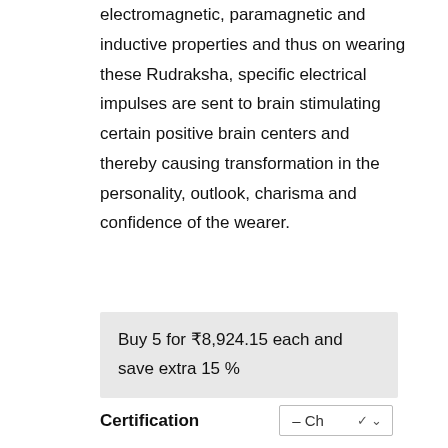electromagnetic, paramagnetic and inductive properties and thus on wearing these Rudraksha, specific electrical impulses are sent to brain stimulating certain positive brain centers and thereby causing transformation in the personality, outlook, charisma and confidence of the wearer.
Buy 5 for ₹8,924.15 each and save extra 15 %
Certification – Cho